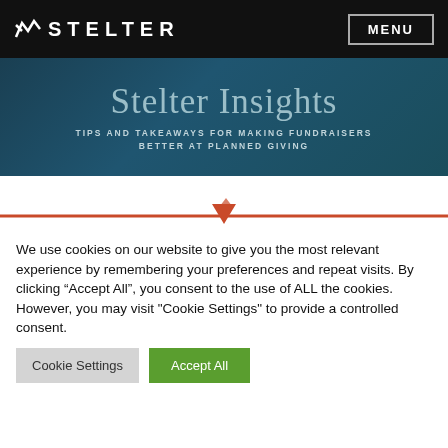STELTER | MENU
[Figure (illustration): Stelter Insights hero banner with teal/dark background, large serif title 'Stelter Insights' and subtitle 'TIPS AND TAKEAWAYS FOR MAKING FUNDRAISERS BETTER AT PLANNED GIVING']
We use cookies on our website to give you the most relevant experience by remembering your preferences and repeat visits. By clicking “Accept All”, you consent to the use of ALL the cookies. However, you may visit "Cookie Settings" to provide a controlled consent.
Cookie Settings | Accept All